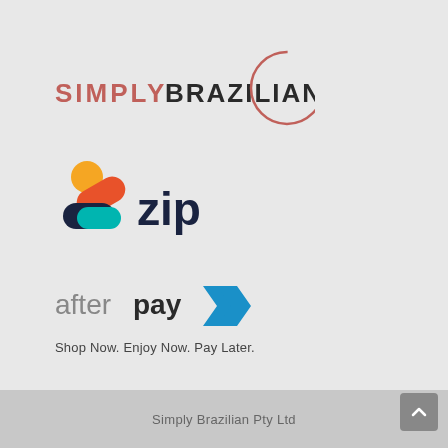[Figure (logo): Simply Brazilian logo: text SIMPLY in salmon/coral color and BRAZILIAN in dark gray with a partial circle enclosing the BR at the end]
[Figure (logo): Zip payment logo: colorful icon with orange circle, orange-red diagonal shape, dark navy and teal rounded rectangle, with word 'zip' in dark navy bold sans-serif]
[Figure (logo): Afterpay logo: gray text 'afterpay' followed by bold dark text 'pay' and a blue-teal chevron/arrow icon]
Shop Now. Enjoy Now. Pay Later.
Simply Brazilian Pty Ltd